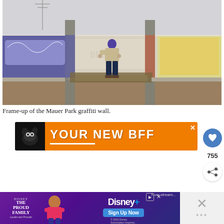[Figure (photo): Person standing with back to camera in front of the Mauer Park graffiti wall, with large colorful graffiti murals and concrete pillars.]
Frame-up of the Mauer Park graffiti wall.
[Figure (infographic): Orange advertisement banner reading YOUR NEW BFF with a dog silhouette on the left.]
[Figure (infographic): Disney+ The Proud Family advertisement banner with purple background and Sign Up Now button.]